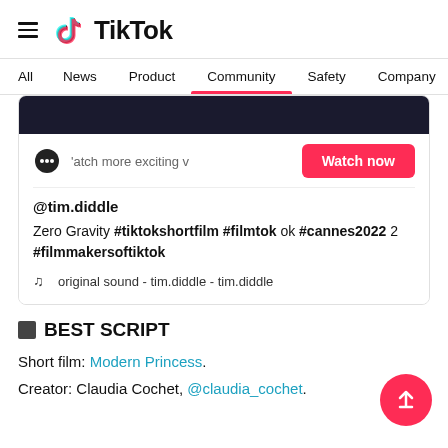TikTok
All  News  Product  Community  Safety  Company
[Figure (screenshot): TikTok video card with dark video thumbnail strip, chat icon, 'atch more exciting v' text, Watch now button, @tim.diddle username, video description with hashtags, and original sound credit]
BEST SCRIPT
Short film: Modern Princess.
Creator: Claudia Cochet, @claudia_cochet.